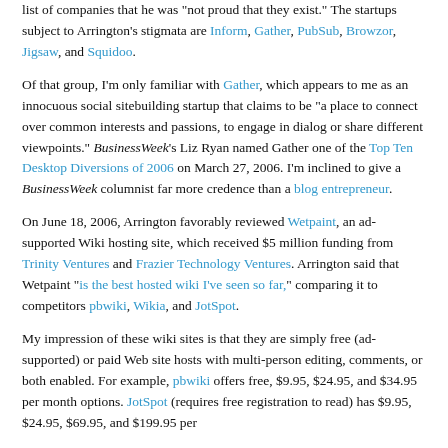list of companies that he was 'not proud that they exist.' The startups subject to Arrington's stigmata are Inform, Gather, PubSub, Browzor, Jigsaw, and Squidoo.
Of that group, I'm only familiar with Gather, which appears to me as an innocuous social sitebuilding startup that claims to be "a place to connect over common interests and passions, to engage in dialog or share different viewpoints." BusinessWeek's Liz Ryan named Gather one of the Top Ten Desktop Diversions of 2006 on March 27, 2006. I'm inclined to give a BusinessWeek columnist far more credence than a blog entrepreneur.
On June 18, 2006, Arrington favorably reviewed Wetpaint, an ad-supported Wiki hosting site, which received $5 million funding from Trinity Ventures and Frazier Technology Ventures. Arrington said that Wetpaint "is the best hosted wiki I've seen so far," comparing it to competitors pbwiki, Wikia, and JotSpot.
My impression of these wiki sites is that they are simply free (ad-supported) or paid Web site hosts with multi-person editing, comments, or both enabled. For example, pbwiki offers free, $9.95, $24.95, and $34.95 per month options. JotSpot (requires free registration to read) has $9.95, $24.95, $69.95, and $199.95 per